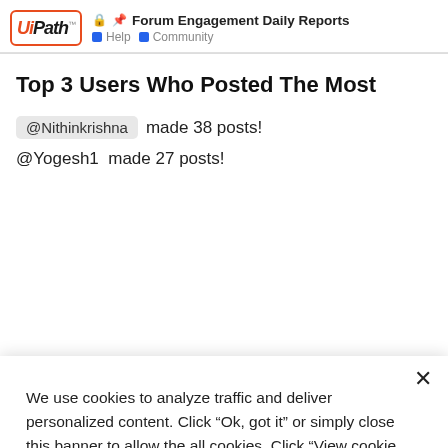Forum Engagement Daily Reports — Help Community
Top 3 Users Who Posted The Most
@Nithinkrishna made 38 posts!
@Yogesh1 made 27 posts!
We use cookies to analyze traffic and deliver personalized content. Click “Ok, got it” or simply close this banner to allow the all cookies. Click "View cookie settings" to allow certain categories of cookies. Update your cookie settings any time from our Cookie Policy.
Ok, got it
View cookie settings